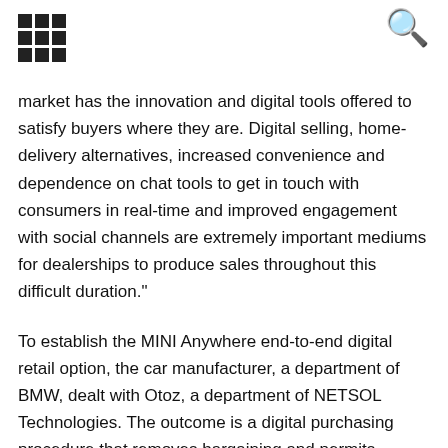[grid icon] [search icon]
market has the innovation and digital tools offered to satisfy buyers where they are. Digital selling, home-delivery alternatives, increased convenience and dependence on chat tools to get in touch with consumers in real-time and improved engagement with social channels are extremely important mediums for dealerships to produce sales throughout this difficult duration."
To establish the MINI Anywhere end-to-end digital retail option, the car manufacturer, a department of BMW, dealt with Otoz, a department of NETSOL Technologies. The outcome is a digital purchasing procedure that removes bargaining and permits purchasers to verify that the car they desire is offered to them at the minute of purchase instead of needing to wait on an order to come in. Dealerships still set the cost of the lorry based upon the